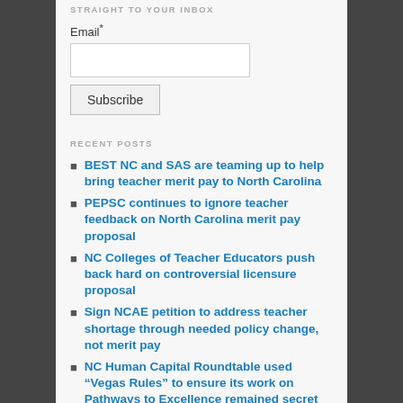STRAIGHT TO YOUR INBOX
Email*
Subscribe
RECENT POSTS
BEST NC and SAS are teaming up to help bring teacher merit pay to North Carolina
PEPSC continues to ignore teacher feedback on North Carolina merit pay proposal
NC Colleges of Teacher Educators push back hard on controversial licensure proposal
Sign NCAE petition to address teacher shortage through needed policy change, not merit pay
NC Human Capital Roundtable used “Vegas Rules” to ensure its work on Pathways to Excellence remained secret